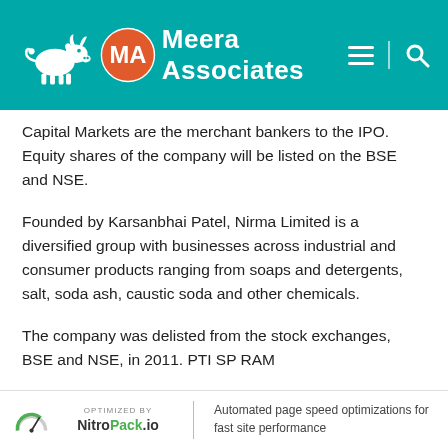[Figure (logo): Meera Associates header with bull logo, MA circular logo, and navigation icons on teal background]
Capital Markets are the merchant bankers to the IPO. Equity shares of the company will be listed on the BSE and NSE.
Founded by Karsanbhai Patel, Nirma Limited is a diversified group with businesses across industrial and consumer products ranging from soaps and detergents, salt, soda ash, caustic soda and other chemicals.
The company was delisted from the stock exchanges, BSE and NSE, in 2011. PTI SP RAM
OPTIMIZED BY NitroPack.io | Automated page speed optimizations for fast site performance